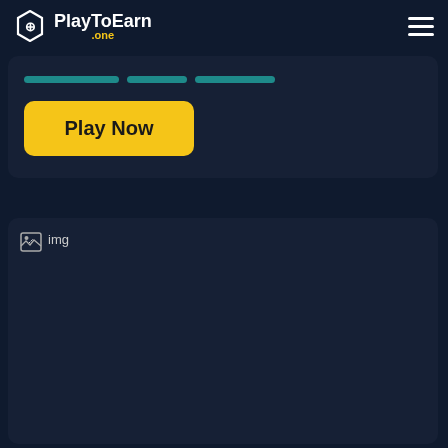PlayToEarn .one
[Figure (screenshot): PlayToEarn.one website screenshot showing a Play Now button and a broken image placeholder on a dark navy background]
Play Now
img